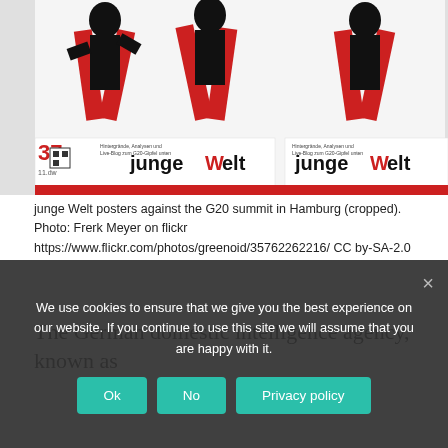[Figure (photo): Photograph of junge Welt newspaper posters showing silhouettes of marching figures in black and red, displayed against a wall. The posters advertise coverage of the G20 summit.]
junge Welt posters against the G20 summit in Hamburg (cropped). Photo: Frerk Meyer on flickr https://www.flickr.com/photos/greenoid/35762262216/ CC by-SA-2.0
The German domestic intelligence agency, known as the Verfassungsschutz, agencies as the FBI or MI5-style, stands for monitoring
We use cookies to ensure that we give you the best experience on our website. If you continue to use this site we will assume that you are happy with it.